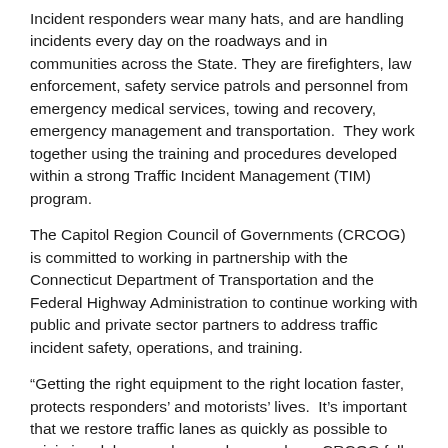Incident responders wear many hats, and are handling incidents every day on the roadways and in communities across the State. They are firefighters, law enforcement, safety service patrols and personnel from emergency medical services, towing and recovery, emergency management and transportation.  They work together using the training and procedures developed within a strong Traffic Incident Management (TIM) program.
The Capitol Region Council of Governments (CRCOG) is committed to working in partnership with the Connecticut Department of Transportation and the Federal Highway Administration to continue working with public and private sector partners to address traffic incident safety, operations, and training.
“Getting the right equipment to the right location faster, protects responders’ and motorists’ lives.  It’s important that we restore traffic lanes as quickly as possible to minimize delays, and secondary crashes.  CRCOG fully supports the awareness campaign and has helped address issues related to traffic incidents in the Capitol Region since 1998” stated Lyle Wray, Executive Director for CRCOG.
“Our highway operations centers, service patrols and maintenance